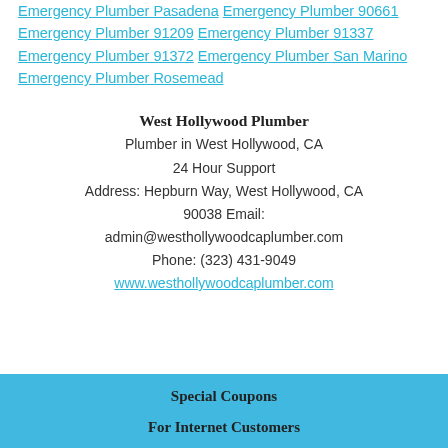Emergency Plumber Pasadena Emergency Plumber 90661 Emergency Plumber 91209 Emergency Plumber 91337 Emergency Plumber 91372 Emergency Plumber San Marino Emergency Plumber Rosemead
West Hollywood Plumber
Plumber in West Hollywood, CA
24 Hour Support
Address: Hepburn Way, West Hollywood, CA 90038 Email: admin@westhollywoodcaplumber.com
Phone: (323) 431-9049
www.westhollywoodcaplumber.com
Special Coupons

For Internet Customers